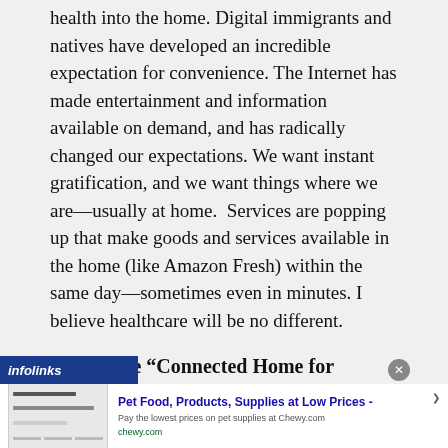health into the home. Digital immigrants and natives have developed an incredible expectation for convenience. The Internet has made entertainment and information available on demand, and has radically changed our expectations. We want instant gratification, and we want things where we are—usually at home.  Services are popping up that make goods and services available in the home (like Amazon Fresh) within the same day—sometimes even in minutes. I believe healthcare will be no different.
The future “Connected Home for Health” will:
[Figure (other): Infolinks advertisement bar with Chewy.com pet food ad. Shows infolinks logo bar in dark blue, close button, Chewy.com ad with pet food image placeholder, ad title 'Pet Food, Products, Supplies at Low Prices -', subtitle 'Pay the lowest prices on pet supplies at Chewy.com', URL 'chewy.com', and a blue circular arrow button.]